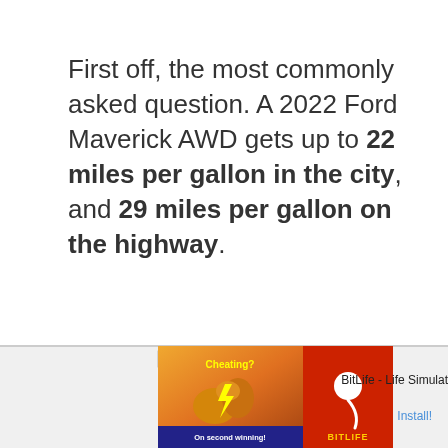First off, the most commonly asked question. A 2022 Ford Maverick AWD gets up to 22 miles per gallon in the city, and 29 miles per gallon on the highway.
[Figure (other): Advertisement banner for BitLife - Life Simulator app, showing ad badge, a game graphic with muscle emoji on orange/brown background, a red panel with sperm icon and BITLIFE text, and an Install button.]